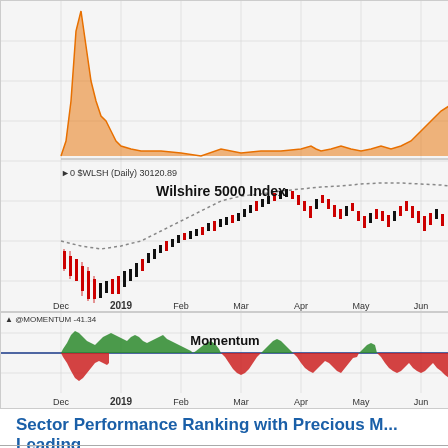[Figure (continuous-plot): Stock chart showing Wilshire 5000 Index (daily candlestick with dotted moving average) from Dec 2018 to Jun 2019, with an orange volatility/market instability index panel on top. Label shows $WLSH (Daily) 30120.89. X-axis: Dec, 2019, Feb, Mar, Apr, May, Jun.]
[Figure (area-chart): Momentum indicator (@MOMENTUM -41.34) area chart from Dec 2018 to Jun 2019. Green areas above zero line, red areas below zero line. X-axis: Dec, 2019, Feb, Mar, Apr, May, Jun.]
Sector Performance Ranking with Precious M... Leading